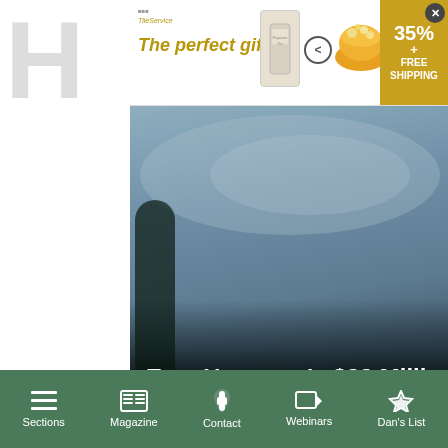[Figure (screenshot): Advertisement banner: 'The perfect gift' with popcorn bowl imagery, navigation arrows, and 35% + FREE SHIPPING promo badge]
[Figure (photo): East Hampton article hero image showing cloudy sky and dark rooftop with title overlay: East Hampton's $33 Million Affordable Housing Project...]
East Hampton's $33 Million Affordable Housing Project...
Mark Pine · 18 Aug
Greetings, in my humble opinion $33 million for 50 apartments...
Top Comment
[Figure (photo): Partial second article card showing brick building exterior with title 'Cartier' and 'the Ha...']
Ja...
I would ... other th...
Top C...
Sections  Magazine  Contact  Webinars  Dan's List